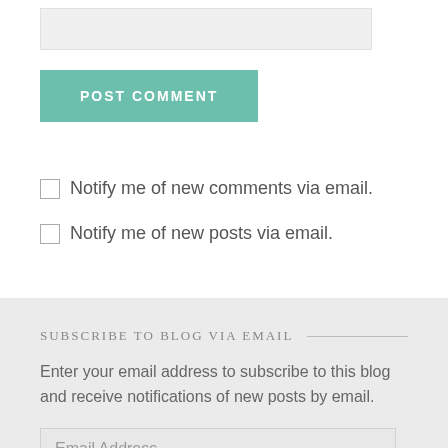[Figure (screenshot): Input text field (light gray background)]
POST COMMENT
Notify me of new comments via email.
Notify me of new posts via email.
SUBSCRIBE TO BLOG VIA EMAIL
Enter your email address to subscribe to this blog and receive notifications of new posts by email.
Email Address